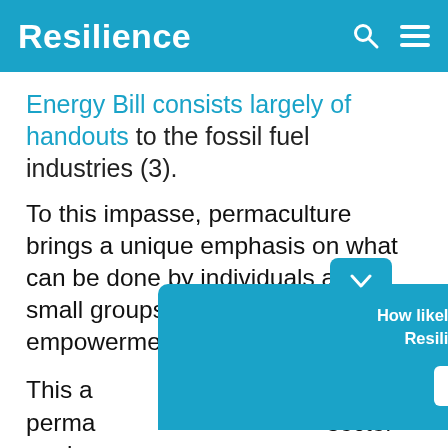Resilience
Energy Bill consists largely of handouts to the fossil fuel industries (3).
To this impasse, permaculture brings a unique emphasis on what can be done by individuals and small groups, fostering a sense of empowerment.
This a... perma... sector analys...
[Figure (other): A popup widget asking 'How likely are you to recommend Resilience.org to a friend?' with a Reply button, overlaying the article text. The popup has a teal/cyan background matching the site header.]